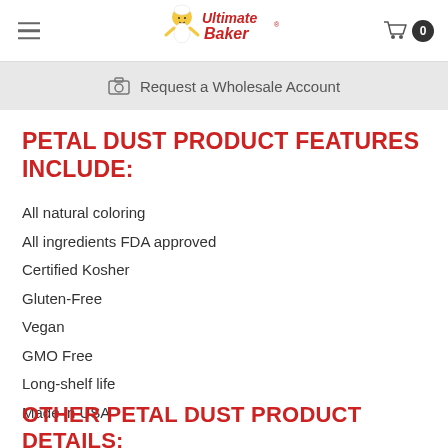Ultimate Baker — hamburger menu, logo, cart (0)
Request a Wholesale Account
PETAL DUST PRODUCT FEATURES INCLUDE:
All natural coloring
All ingredients FDA approved
Certified Kosher
Gluten-Free
Vegan
GMO Free
Long-shelf life
Made in USA
OTHER PETAL DUST PRODUCT DETAILS: